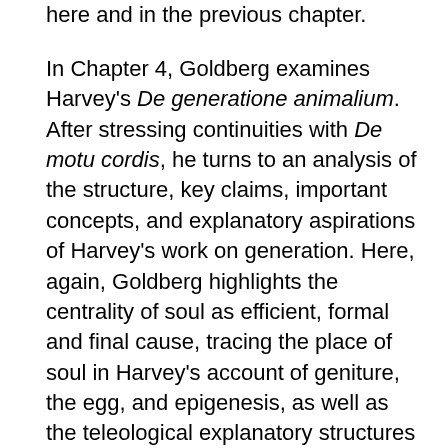here and in the previous chapter.
In Chapter 4, Goldberg examines Harvey's De generatione animalium. After stressing continuities with De motu cordis, he turns to an analysis of the structure, key claims, important concepts, and explanatory aspirations of Harvey's work on generation. Here, again, Goldberg highlights the centrality of soul as efficient, formal and final cause, tracing the place of soul in Harvey's account of geniture, the egg, and epigenesis, as well as the teleological explanatory structures Harvey develops. Goldberg also explores the significance and limits of the analogies Harvey draws between fertilization and contagion and between the womb and the brain, as well as the place of God in his theory of generation. Goldberg